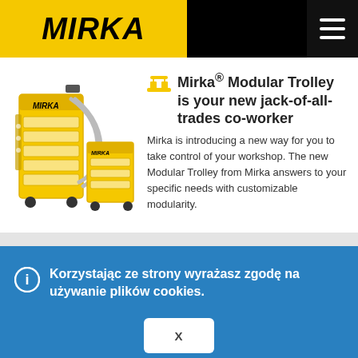MIRKA
[Figure (screenshot): Mirka Modular Trolley product image showing yellow and black workshop trolley with cable management]
Mirka® Modular Trolley is your new jack-of-all-trades co-worker
Mirka is introducing a new way for you to take control of your workshop. The new Modular Trolley from Mirka answers to your specific needs with customizable modularity.
Korzystając ze strony wyrażasz zgodę na używanie plików cookies.
x